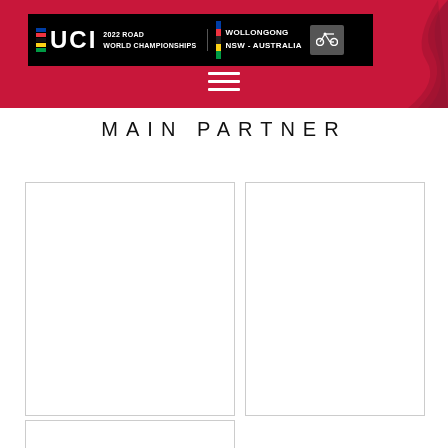[Figure (logo): UCI 2022 Road World Championships – Wollongong NSW Australia header banner with red background, UCI logo, event name, and hamburger menu icon]
MAIN PARTNER
[Figure (other): Empty white rectangular box with light grey border — left partner logo placeholder]
[Figure (other): Empty white rectangular box with light grey border — right partner logo placeholder]
[Figure (other): Empty white rectangular box with light grey border — bottom-left partner logo placeholder (partially visible)]